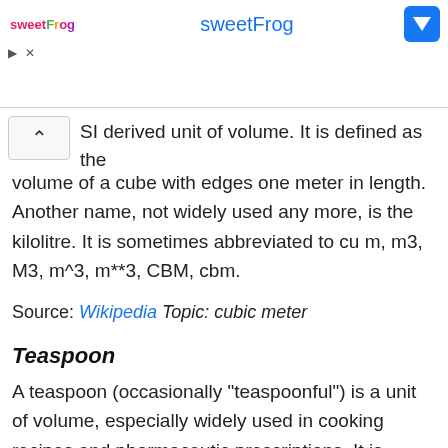[Figure (other): sweetFrog advertisement banner with logo, brand name in blue, Facebook icon, play and close controls]
SI derived unit of volume. It is defined as the volume of a cube with edges one meter in length. Another name, not widely used any more, is the kilolitre. It is sometimes abbreviated to cu m, m3, M3, m^3, m**3, CBM, cbm.
Source: Wikipedia Topic: cubic meter
Teaspoon
A teaspoon (occasionally "teaspoonful") is a unit of volume, especially widely used in cooking recipes and pharmaceutic prescriptions. It is abbreviated as tsp. or, less often, as t., ts., or tspn. In the United States one teaspoon as a unit of culinary measure is 1⁄3 tablespoon.